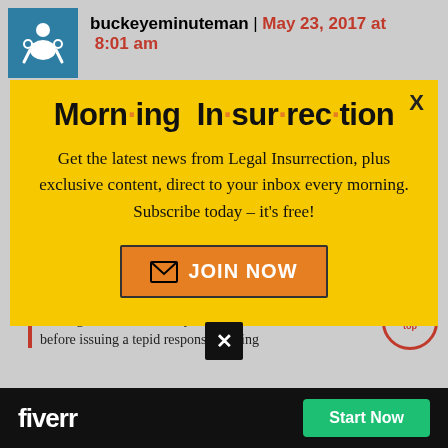buckeyeminuteman | May 23, 2017 at 8:01 am
Occasional acts of deadly terrorism have
[Figure (infographic): Morning Insurrection newsletter popup modal with yellow background, large bold title 'Morn·ing In·sur·rec·tion', body text about Legal Insurrection newsletter, and orange JOIN NOW button]
mulling this over days, if not weeks, before issuing a tepid response relating
[Figure (other): Fiverr advertisement bar with logo and Start Now green button]